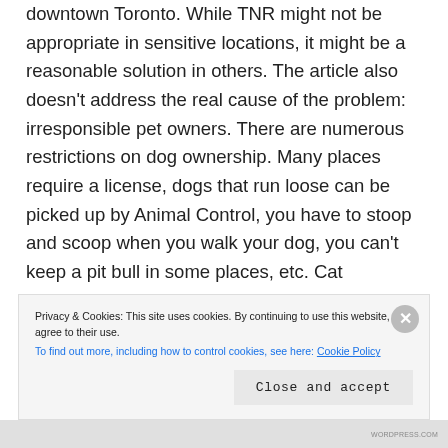downtown Toronto. While TNR might not be appropriate in sensitive locations, it might be a reasonable solution in others. The article also doesn't address the real cause of the problem: irresponsible pet owners. There are numerous restrictions on dog ownership. Many places require a license, dogs that run loose can be picked up by Animal Control, you have to stoop and scoop when you walk your dog, you can't keep a pit bull in some places, etc. Cat ownership has few restrictions. One pet food store owner I talked to thought that pet stores should not be legally allowed to sell or place unneutered kittens. A public information
Privacy & Cookies: This site uses cookies. By continuing to use this website, you agree to their use.
To find out more, including how to control cookies, see here: Cookie Policy
Close and accept